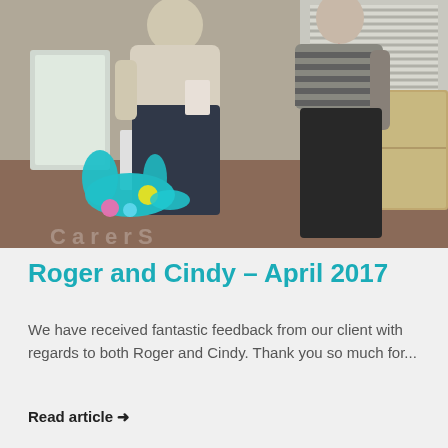[Figure (photo): Two people standing together indoors, one in a cream sweater and dark jeans, and one in a striped top and dark jeans, both wearing lanyards/badges. A colorful splat logo overlay is visible in the lower left corner of the photo.]
Roger and Cindy – April 2017
We have received fantastic feedback from our client with regards to both Roger and Cindy. Thank you so much for...
Read article →